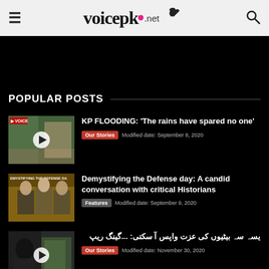voicepk.net
POPULAR POSTS
[Figure (photo): Video thumbnail showing a man standing near flood-affected area with play button overlay]
KP FLOODING: ‘The rains have spared no one’
Our Stories   Modified date: September 8, 2020
[Figure (photo): Thumbnail showing text EMYSTIFYING THE DEFENSE DA with three men posed]
Demystifying the Defense day: A candid conversation with critical Historians
Features   Modified date: September 9, 2020
[Figure (photo): Thumbnail showing a woman in black veil with another person, play button overlay]
یسہ سہ بیٹیوں کی عزت واپس آ سکتی: ...گینگ ریپ
Our Stories   Modified date: November 30, 2020